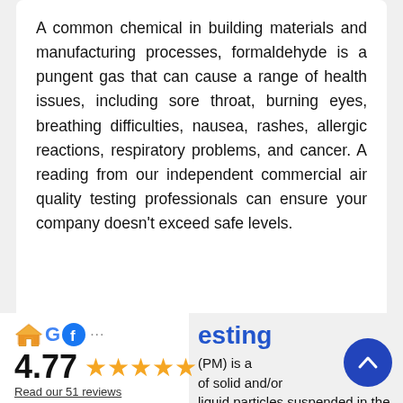A common chemical in building materials and manufacturing processes, formaldehyde is a pungent gas that can cause a range of health issues, including sore throat, burning eyes, breathing difficulties, nausea, rashes, allergic reactions, respiratory problems, and cancer. A reading from our independent commercial air quality testing professionals can ensure your company doesn't exceed safe levels.
[Figure (logo): Rating widget showing house/Google/Facebook icons, 4.77 stars rating with 5 yellow stars and Read our 51 reviews link]
esting
(PM) is a of solid and/or liquid particles suspended in the air.